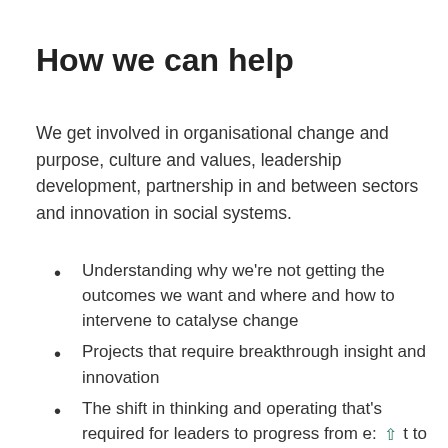How we can help
We get involved in organisational change and purpose, culture and values, leadership development, partnership in and between sectors and innovation in social systems.
Understanding why we're not getting the outcomes we want and where and how to intervene to catalyse change
Projects that require breakthrough insight and innovation
The shift in thinking and operating that's required for leaders to progress from e… to more facilitative styles of leadership
Planning and tracking for the emergence of